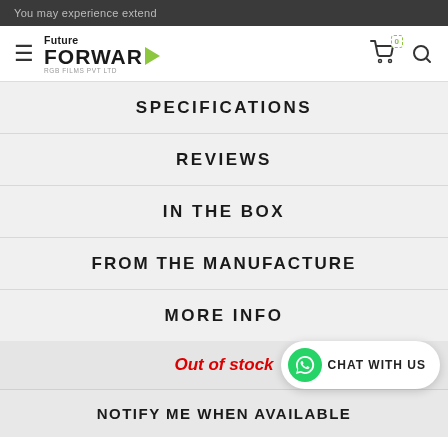You may experience extend
[Figure (logo): Future Forward RGB Films Pvt Ltd logo with green triangle arrow]
SPECIFICATIONS
REVIEWS
IN THE BOX
FROM THE MANUFACTURE
MORE INFO
Out of stock
CHAT WITH US
NOTIFY ME WHEN AVAILABLE